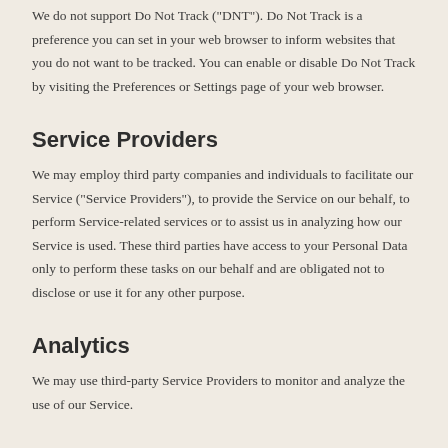We do not support Do Not Track ("DNT"). Do Not Track is a preference you can set in your web browser to inform websites that you do not want to be tracked. You can enable or disable Do Not Track by visiting the Preferences or Settings page of your web browser.
Service Providers
We may employ third party companies and individuals to facilitate our Service ("Service Providers"), to provide the Service on our behalf, to perform Service-related services or to assist us in analyzing how our Service is used. These third parties have access to your Personal Data only to perform these tasks on our behalf and are obligated not to disclose or use it for any other purpose.
Analytics
We may use third-party Service Providers to monitor and analyze the use of our Service.